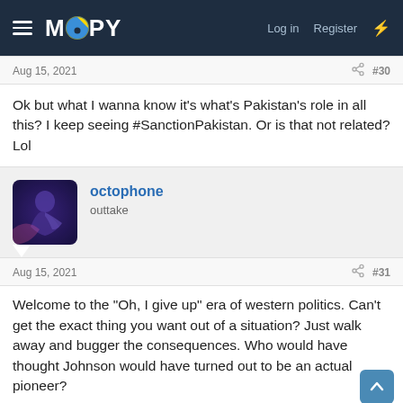MOoPY — Log in | Register
Aug 15, 2021  #30
Ok but what I wanna know it's what's Pakistan's role in all this? I keep seeing #SanctionPakistan. Or is that not related? Lol
octophone
outtake
Aug 15, 2021  #31
Welcome to the "Oh, I give up" era of western politics. Can't get the exact thing you want out of a situation? Just walk away and bugger the consequences. Who would have thought Johnson would have turned out to be an actual pioneer?

(NB - I know this is an oversimplification)
😡 Queen of the Bay